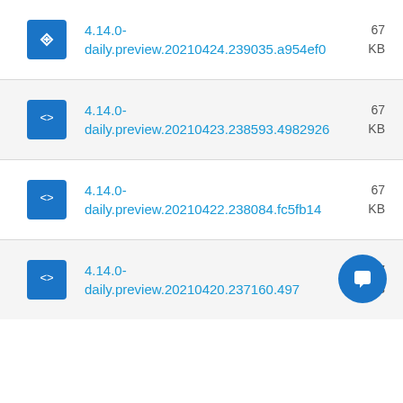4.14.0-daily.preview.20210424.239035.a954ef0  67 KB
4.14.0-daily.preview.20210423.238593.4982926  67 KB
4.14.0-daily.preview.20210422.238084.fc5fb14  67 KB
4.14.0-daily.preview.20210420.237160.497... 67 KB